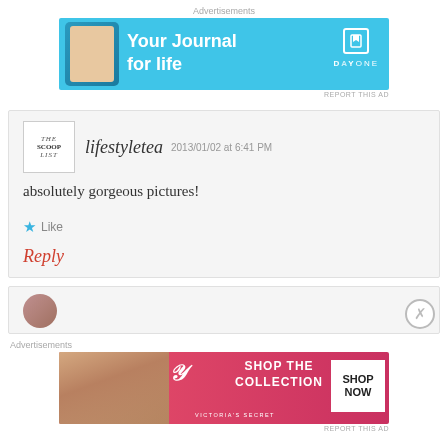Advertisements
[Figure (illustration): DayOne app advertisement banner: blue background with phone image, text 'Your Journal for life', DayOne logo with bookmark icon]
REPORT THIS AD
lifestyletea   2013/01/02 at 6:41 PM
absolutely gorgeous pictures!
Like
Reply
[Figure (photo): Partial view of second comment avatar]
Advertisements
[Figure (illustration): Victoria's Secret advertisement banner: pink/red background with model photo, VS logo, text 'SHOP THE COLLECTION', white SHOP NOW button]